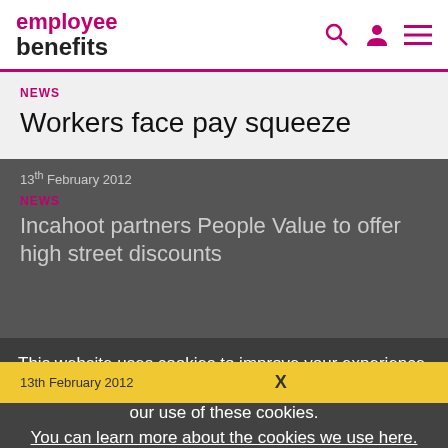employee benefits
NEWS
Workers face pay squeeze
13th February 2012
NEWS
Incahoot partners People Value to offer high street discounts
This website uses cookies to improve your experience. By continuing to browse this site you are agreeing to our use of these cookies. You can learn more about the cookies we use here.
X
13th February 2012